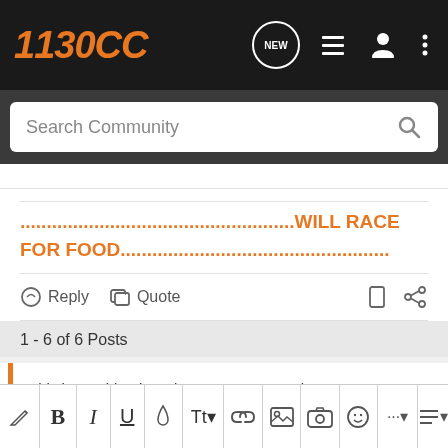1130 CC
Search Community
..................................................WILL RACE FOR FOOD...................................................
Reply  Quote
1 - 6 of 6 Posts
This is an older thread, you may not receive a response, and could be reviving an old thread. Please consider creating a new thread.